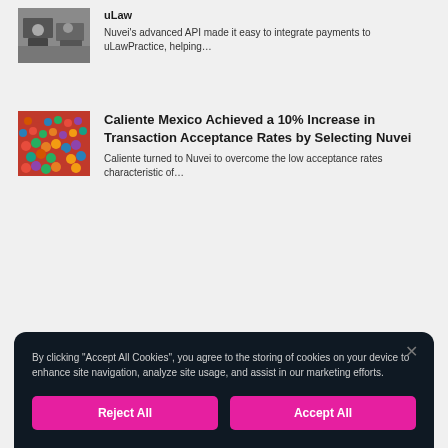[Figure (photo): Small thumbnail photo of office/business setting]
uLaw
Nuvei's advanced API made it easy to integrate payments to uLawPractice, helping…
[Figure (photo): Small thumbnail photo of a crowd of people]
Caliente Mexico Achieved a 10% Increase in Transaction Acceptance Rates by Selecting Nuvei
Caliente turned to Nuvei to overcome the low acceptance rates characteristic of…
By clicking "Accept All Cookies", you agree to the storing of cookies on your device to enhance site navigation, analyze site usage, and assist in our marketing efforts.